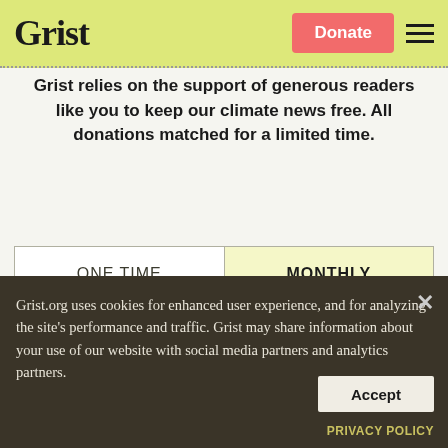Grist | Donate
Grist relies on the support of generous readers like you to keep our climate news free. All donations matched for a limited time.
| ONE TIME | MONTHLY |
| --- | --- |
| $10 | $15 | OTHER |
| --- | --- | --- |
Grist.org uses cookies for enhanced user experience, and for analyzing the site's performance and traffic. Grist may share information about your use of our website with social media partners and analytics partners.
Accept
PRIVACY POLICY